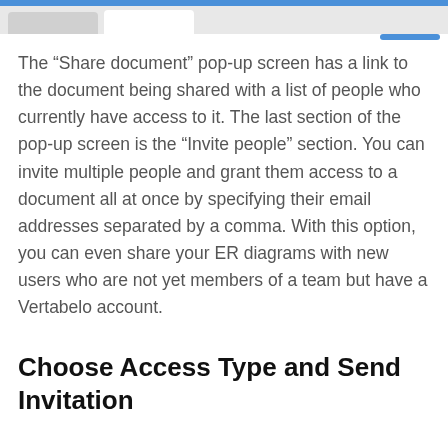The “Share document” pop-up screen has a link to the document being shared with a list of people who currently have access to it. The last section of the pop-up screen is the “Invite people” section. You can invite multiple people and grant them access to a document all at once by specifying their email addresses separated by a comma. With this option, you can even share your ER diagrams with new users who are not yet members of a team but have a Vertabelo account.
Choose Access Type and Send Invitation